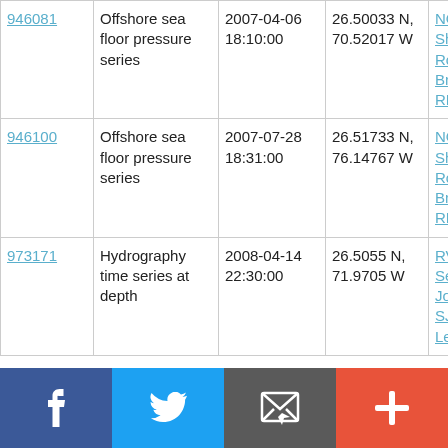| 946081 | Offshore sea floor pressure series | 2007-04-06 18:10:00 | 26.50033 N, 70.52017 W | NOAA Ship Ronald H. Brown RB0701 |
| 946100 | Offshore sea floor pressure series | 2007-07-28 18:31:00 | 26.51733 N, 76.14767 W | NOAA Ship Ronald H. Brown RB0701 |
| 973171 | Hydrography time series at depth | 2008-04-14 22:30:00 | 26.5055 N, 71.9705 W | RV Seward Johnson SJ-08-03 Leg 1 |
[Figure (other): Social sharing bar with Facebook, Twitter, email, and plus buttons]